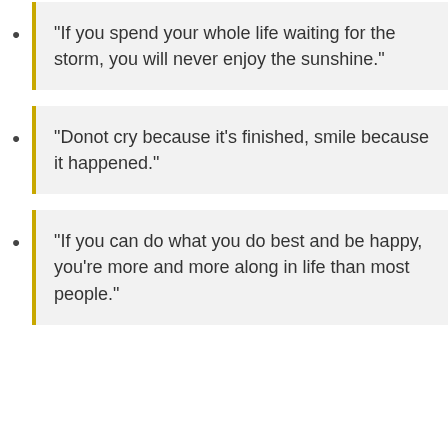“If you spend your whole life waiting for the storm, you will never enjoy the sunshine.”
“Donot cry because it’s finished, smile because it happened.”
“If you can do what you do best and be happy, you’re more and more along in life than most people.”